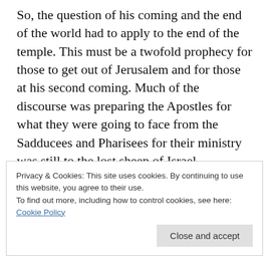So, the question of his coming and the end of the world had to apply to the end of the temple. This must be a twofold prophecy for those to get out of Jerusalem and for those at his second coming. Much of the discourse was preparing the Apostles for what they were going to face from the Sadducees and Pharisees for their ministry was still to the lost sheep of Israel. “24:9Then shall they deliver you up to be afflicted, and shall kill you: and ye shall be hated of all nations for my name’s
Privacy & Cookies: This site uses cookies. By continuing to use this website, you agree to their use.
To find out more, including how to control cookies, see here: Cookie Policy
Close and accept